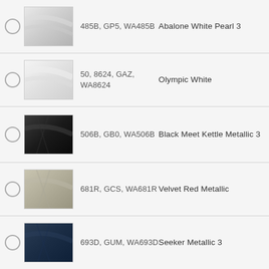485B, GP5, WA485B — Abalone White Pearl 3
50, 8624, GAZ, WA8624 — Olympic White
506B, GB0, WA506B — Black Meet Kettle Metallic 3
681R, GCS, WA681R — Velvet Red Metallic
693D, GUM, WA693D — Seeker Metallic 3
[Figure (logo): TrustedSite Certified Secure badge]